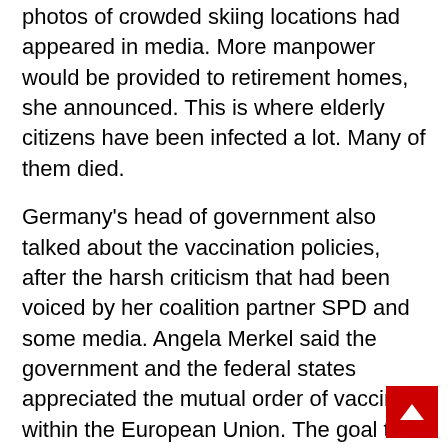photos of crowded skiing locations had appeared in media. More manpower would be provided to retirement homes, she announced. This is where elderly citizens have been infected a lot. Many of them died.
Germany's head of government also talked about the vaccination policies, after the harsh criticism that had been voiced by her coalition partner SPD and some media. Angela Merkel said the government and the federal states appreciated the mutual order of vaccines within the European Union. The goal to provide 27 E.U. countries with vaccine was right and important. “We do not want national solo action”, she stated. More vaccines would be approved by the authorities.
Prioritized Vaccinations